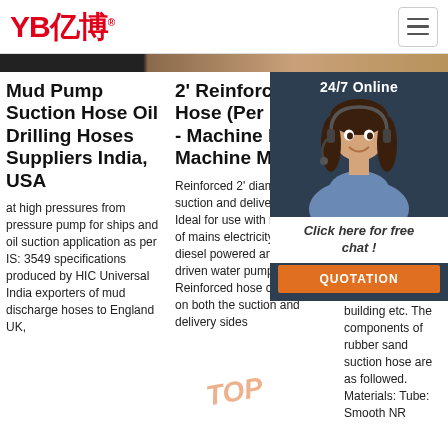YB亿博® [hamburger menu]
[Figure (photo): Hero image strip showing dark machinery on left, brown/tan material in center and right portions]
Mud Pump Suction Hose Oil Drilling Hoses Suppliers India, USA
at high pressures from pressure pump for ships and oil suction application as per IS: 3549 specifications produced by HIC Universal India exporters of mud discharge hoses to England UK,
2' Reinforced Hose (Per Metre) - Machine Mart - Machine Mart
Reinforced 2' diameter suction and delivery hose. Ideal for use with most kinds of mains electricity, petrol & diesel powered and PTO driven water pumps too. Reinforced hose can be used on both the suction and delivery sides
Ru Su
202 17u rub hos for s dis san pow agri mining and building etc. The components of rubber sand suction hose are as followed. Materials: Tube: Smooth NR
[Figure (screenshot): 24/7 Online chat overlay with customer service representative photo, 'Click here for free chat!' text, and QUOTATION button]